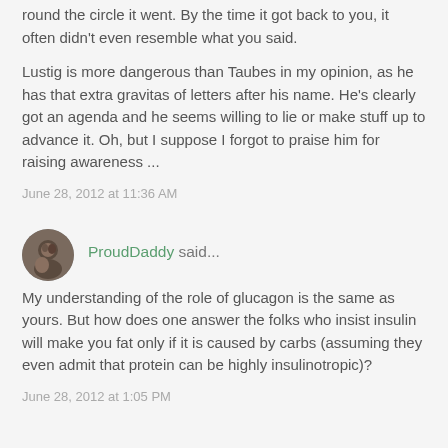round the circle it went. By the time it got back to you, it often didn't even resemble what you said.
Lustig is more dangerous than Taubes in my opinion, as he has that extra gravitas of letters after his name. He's clearly got an agenda and he seems willing to lie or make stuff up to advance it. Oh, but I suppose I forgot to praise him for raising awareness ...
June 28, 2012 at 11:36 AM
ProudDaddy said...
My understanding of the role of glucagon is the same as yours. But how does one answer the folks who insist insulin will make you fat only if it is caused by carbs (assuming they even admit that protein can be highly insulinotropic)?
June 28, 2012 at 1:05 PM